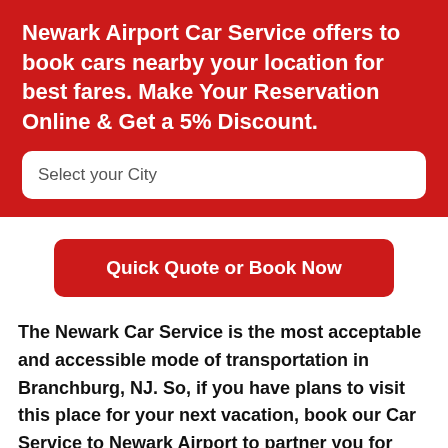Newark Airport Car Service offers to book cars nearby your location for best fares. Make Your Reservation Online & Get a 5% Discount.
Select your City
Quick Quote or Book Now
The Newark Car Service is the most acceptable and accessible mode of transportation in Branchburg, NJ. So, if you have plans to visit this place for your next vacation, book our Car Service to Newark Airport to partner you for providing the top-notch service with utmost reliability and punctuality. Our highly trained and skilled chauffeur service at EWR